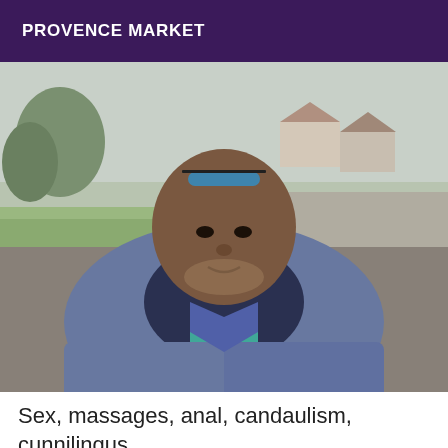PROVENCE MARKET
[Figure (photo): Outdoor selfie photo of a middle-aged man wearing sunglasses on his head, a dark scarf, denim jacket, and teal shirt, standing in a suburban area with houses and trees in the background.]
Sex, massages, anal, candaulism, cunnilingus